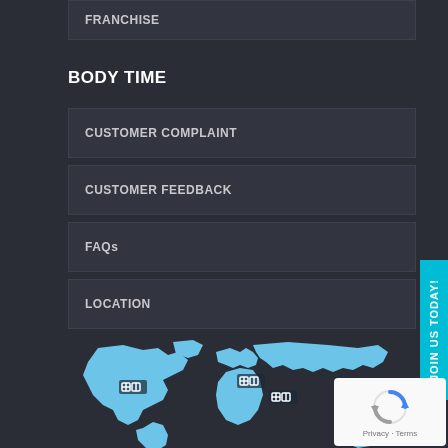FRANCHISE
BODY TIME
CUSTOMER COMPLAINT
CUSTOMER FEEDBACK
FAQs
LOCATION
[Figure (map): World map in light blue on dark background with three location marker icons placed over North America, Europe/Middle East, and Africa/South Asia regions]
[Figure (other): reCAPTCHA widget in white box showing spinning arrows logo with Privacy and Terms text]